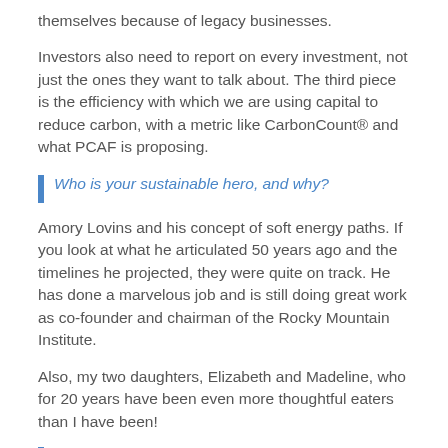themselves because of legacy businesses.
Investors also need to report on every investment, not just the ones they want to talk about. The third piece is the efficiency with which we are using capital to reduce carbon, with a metric like CarbonCount® and what PCAF is proposing.
Who is your sustainable hero, and why?
Amory Lovins and his concept of soft energy paths. If you look at what he articulated 50 years ago and the timelines he projected, they were quite on track. He has done a marvelous job and is still doing great work as co-founder and chairman of the Rocky Mountain Institute.
Also, my two daughters, Elizabeth and Madeline, who for 20 years have been even more thoughtful eaters than I have been!